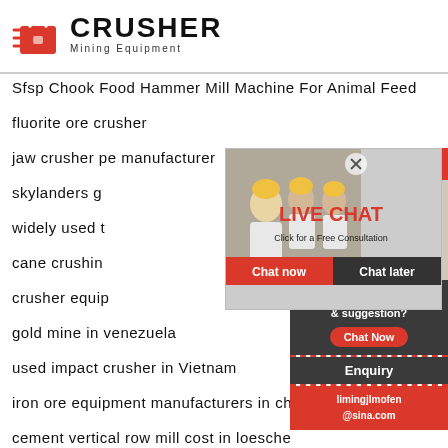[Figure (logo): CRUSHER Mining Equipment logo with red shopping bag icon and bold text]
Sfsp Chook Food Hammer Mill Machine For Animal Feed
fluorite ore crusher
jaw crusher pe manufacturer
skylanders g
widely used t
cane crushin
crusher equip
gold mine in venezuela
used impact crusher in Vietnam
iron ore equipment manufacturers in china
cement vertical row mill cost in loesche
Mobile crushing equipment comple
[Figure (photo): Live Chat popup overlay showing workers in hard hats and a female chat agent with headset. Text: LIVE CHAT, Click for a Free Consultation, Chat now, Chat later buttons]
24Hrs Online
Need questions & suggestion?
Chat Now
Enquiry
limingjlmofen@sina.com